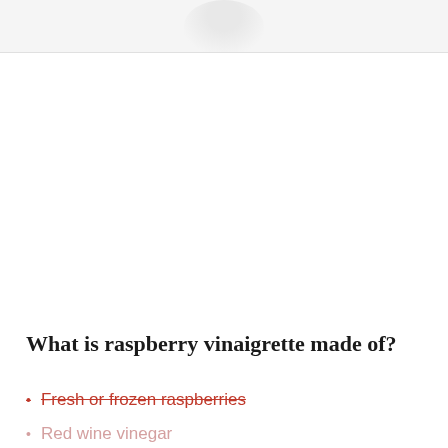[Figure (photo): Partial view of a dish or bowl at the top of the page, mostly cropped, showing a light gray/white rounded shape against a light background]
What is raspberry vinaigrette made of?
Fresh or frozen raspberries
Red wine vinegar